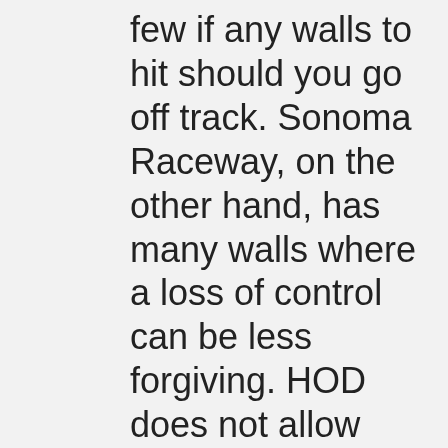few if any walls to hit should you go off track. Sonoma Raceway, on the other hand, has many walls where a loss of control can be less forgiving. HOD does not allow beginner instruction at Sonoma for this reason. Thunderhill lets you get moving pretty fast from turn 15 to finish as well as clear through turns 6-9. I recommend you print the track map out ahead of time so you can keep up during the debriefs (downloads). Everyone will be refering to the